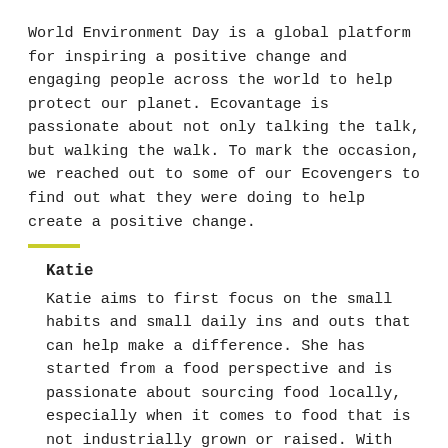World Environment Day is a global platform for inspiring a positive change and engaging people across the world to help protect our planet. Ecovantage is passionate about not only talking the talk, but walking the walk. To mark the occasion, we reached out to some of our Ecovengers to find out what they were doing to help create a positive change.
Katie
Katie aims to first focus on the small habits and small daily ins and outs that can help make a difference. She has started from a food perspective and is passionate about sourcing food locally, especially when it comes to food that is not industrially grown or raised. With locally grown food, you know it's in season, the chemical load is lower, and it cuts out the plastic and packaging too.